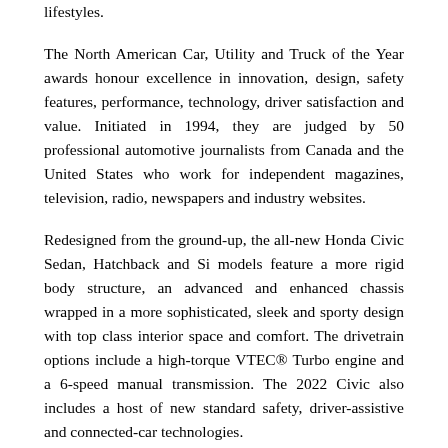lifestyles.
The North American Car, Utility and Truck of the Year awards honour excellence in innovation, design, safety features, performance, technology, driver satisfaction and value. Initiated in 1994, they are judged by 50 professional automotive journalists from Canada and the United States who work for independent magazines, television, radio, newspapers and industry websites.
Redesigned from the ground-up, the all-new Honda Civic Sedan, Hatchback and Si models feature a more rigid body structure, an advanced and enhanced chassis wrapped in a more sophisticated, sleek and sporty design with top class interior space and comfort. The drivetrain options include a high-torque VTEC® Turbo engine and a 6-speed manual transmission. The 2022 Civic also includes a host of new standard safety, driver-assistive and connected-car technologies.
About Honda Canada
Honda Canada Inc. was founded in 1969 and is the parent company for both Honda and Acura vehicle brands in Canada. Since 1986, the company has produced Honda engines and more than nine million cars and light trucks at